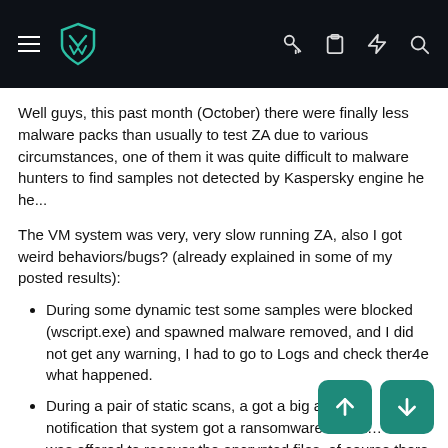Navigation bar with hamburger menu, logo, and icons (key, clipboard, lightning, search)
Well guys, this past month (October) there were finally less malware packs than usually to test ZA due to various circumstances, one of them it was quite difficult to malware hunters to find samples not detected by Kaspersky engine he he...
The VM system was very, very slow running ZA, also I got weird behaviors/bugs? (already explained in some of my posted results):
During some dynamic test some samples were blocked (wscript.exe) and spawned malware removed, and I did not get any warning, I had to go to Logs and check ther4e what happened.
During a pair of static scans, a got a big alarming notification that system got a ransomware attack... and was offered to recover the encrypted files, of course there were 0 files to recover since it was just a selective scan.
Quarantine showing there were 2 malware in it, but when